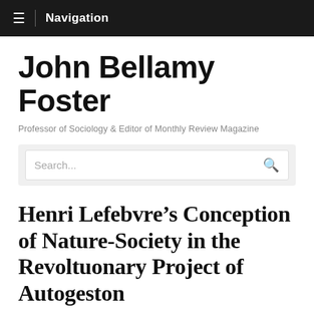≡ Navigation
John Bellamy Foster
Professor of Sociology & Editor of Monthly Review Magazine
Search...
Henri Lefebvre's Conception of Nature-Society in the Revoltuonary Project of Autogeston
by John Bellamy Foster on March 29, 2022 in Articles, Journal Articles